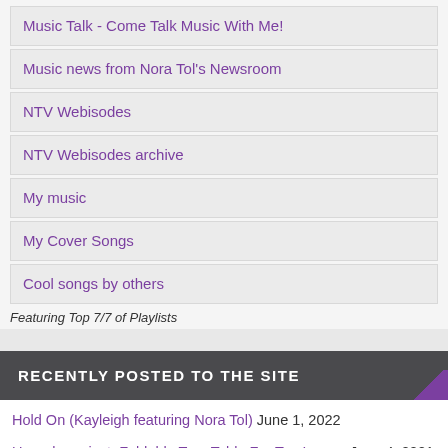Music Talk - Come Talk Music With Me!
Music news from Nora Tol's Newsroom
NTV Webisodes
NTV Webisodes archive
My music
My Cover Songs
Cool songs by others
Featuring Top 7/7 of Playlists
RECENTLY POSTED TO THE SITE
Hold On (Kayleigh featuring Nora Tol) June 1, 2022
Upcycle project: Foldable Tray Table For Tea Lovers June 4, 2021